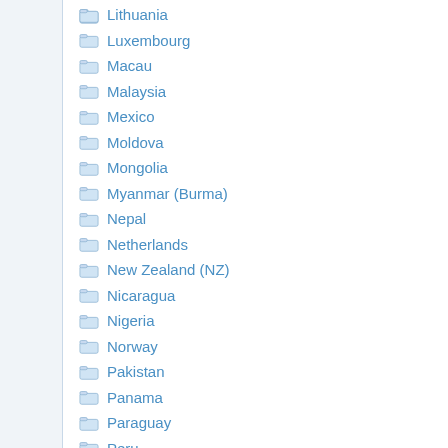Lithuania
Luxembourg
Macau
Malaysia
Mexico
Moldova
Mongolia
Myanmar (Burma)
Nepal
Netherlands
New Zealand (NZ)
Nicaragua
Nigeria
Norway
Pakistan
Panama
Paraguay
Peru
Philippines
Poland